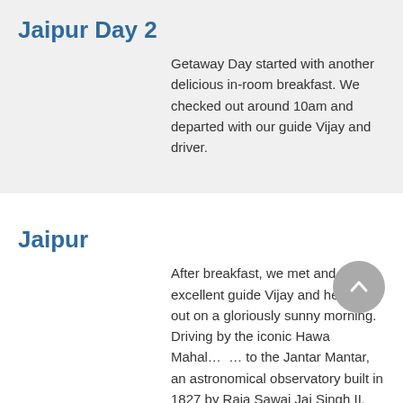Jaipur Day 2
Getaway Day started with another delicious in-room breakfast. We checked out around 10am and departed with our guide Vijay and driver.
Jaipur
After breakfast, we met and our excellent guide Vijay and headed out on a gloriously sunny morning.   Driving by the iconic Hawa Mahal…  … to the Jantar Mantar, an astronomical observatory built in 1827 by Raja Sawai Jai Singh II.
Delhi Day 2
Fortunately, day 2 was much better as we